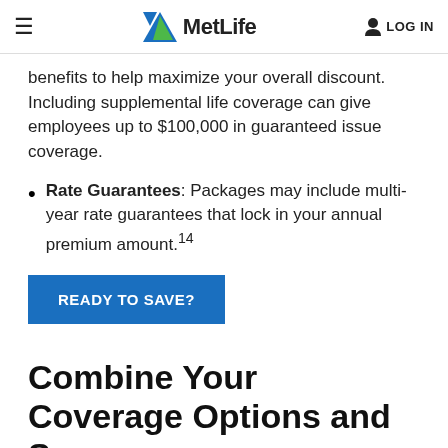MetLife | LOG IN
benefits to help maximize your overall discount. Including supplemental life coverage can give employees up to $100,000 in guaranteed issue coverage.
Rate Guarantees: Packages may include multi-year rate guarantees that lock in your annual premium amount.14
READY TO SAVE?
Combine Your Coverage Options and Save
Packaging coverage options can give small business owners with 10-99 employees a cost-effective way to expand benefits offerings. Start with a dental plan as the base and add additional coverage options and the